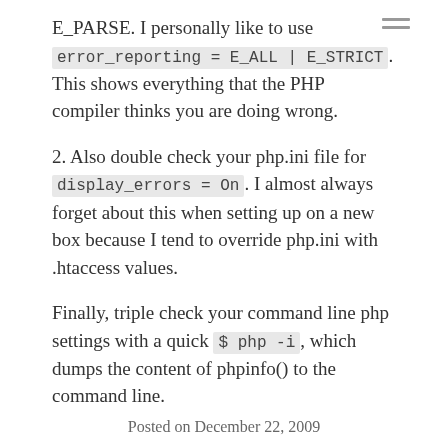E_PARSE. I personally like to use error_reporting = E_ALL | E_STRICT. This shows everything that the PHP compiler thinks you are doing wrong.
2. Also double check your php.ini file for display_errors = On. I almost always forget about this when setting up on a new box because I tend to override php.ini with .htaccess values.
Finally, triple check your command line php settings with a quick $ php -i, which dumps the content of phpinfo() to the command line.
Posted on December 22, 2009